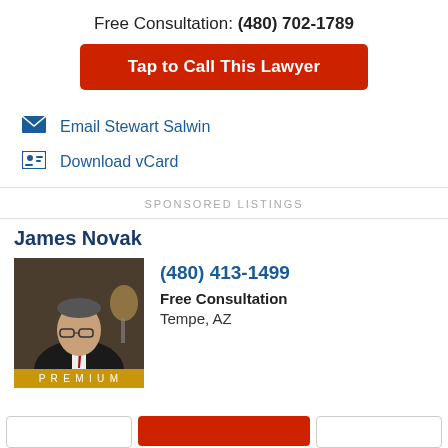Free Consultation: (480) 702-1789
Tap to Call This Lawyer
Email Stewart Salwin
Download vCard
SPONSORED LISTINGS
James Novak
[Figure (photo): Headshot of James Novak, a lawyer in a dark suit and red tie, seated, wearing glasses, with a PREMIUM badge at the bottom.]
(480) 413-1499
Free Consultation
Tempe, AZ